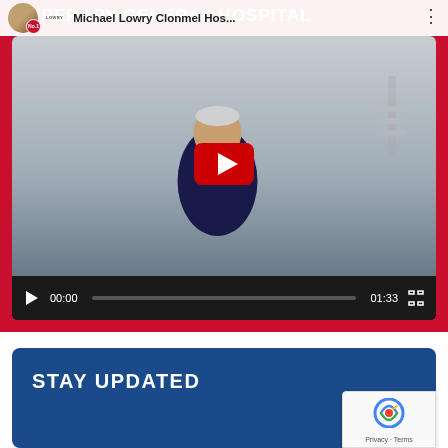TIPPERARY GENERAL HOSPITAL
[Figure (screenshot): YouTube video embed showing Michael Lowry speaking in a hospital room, with title 'Michael Lowry Clonmel Hos...' and duration 01:33. Video controls bar visible at bottom.]
STAY UPDATED